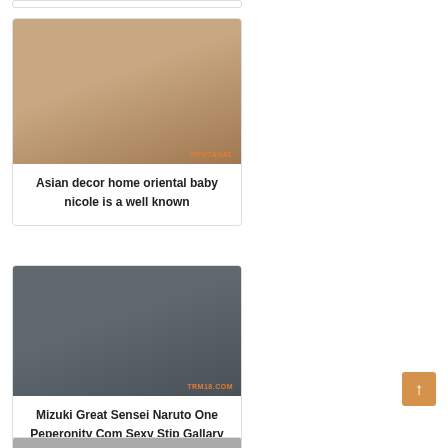[Figure (photo): Thumbnail image for first card - bedroom scene]
Asian decor home oriental baby nicole is a well known
[Figure (photo): Thumbnail image for second card - person on massage table, watermark TRM18.COM]
Mizuki Great Sensei Naruto One Peperonity Com Sexy Stip Gallary
[Figure (photo): Partially visible third card thumbnail at bottom]